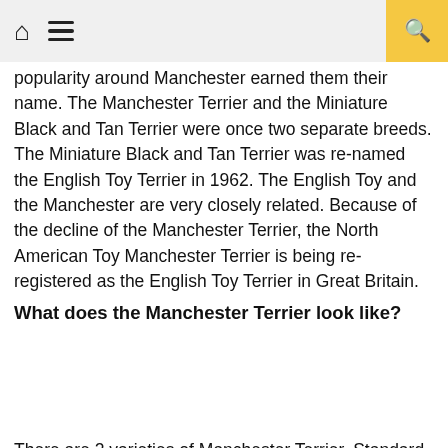Home | Menu | Search
popularity around Manchester earned them their name. The Manchester Terrier and the Miniature Black and Tan Terrier were once two separate breeds. The Miniature Black and Tan Terrier was re-named the English Toy Terrier in 1962. The English Toy and the Manchester are very closely related. Because of the decline of the Manchester Terrier, the North American Toy Manchester Terrier is being re-registered as the English Toy Terrier in Great Britain.
What does the Manchester Terrier look like?
[Figure (photo): Image placeholder area for Manchester Terrier photo]
There are 2 varieties of Manchester Terrier, Standard and Toy. The Standard is 15-16 inches tall and weight 17-18 lbs. The Toy is 6-8 lbs. The Toy is just a smaller version of the Standard. The head is long and narrow. Ears are erect